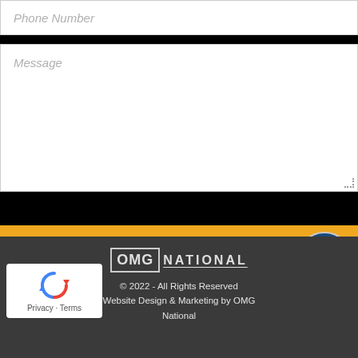Phone Number
Message
CONTACT US
[Figure (logo): OMG National logo with boxed OMG text and underlined NATIONAL text]
© 2022 - All Rights Reserved
Website Design & Marketing by OMG National
[Figure (other): reCAPTCHA badge with Privacy - Terms text]